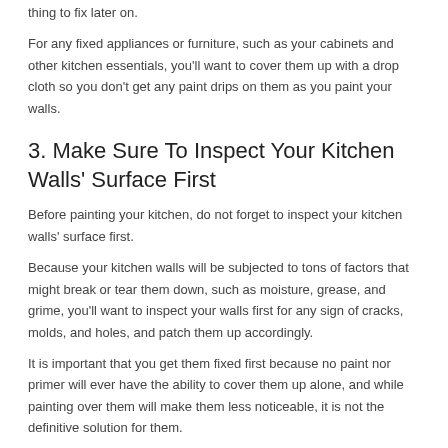thing to fix later on.
For any fixed appliances or furniture, such as your cabinets and other kitchen essentials, you'll want to cover them up with a drop cloth so you don't get any paint drips on them as you paint your walls.
3. Make Sure To Inspect Your Kitchen Walls' Surface First
Before painting your kitchen, do not forget to inspect your kitchen walls' surface first.
Because your kitchen walls will be subjected to tons of factors that might break or tear them down, such as moisture, grease, and grime, you'll want to inspect your walls first for any sign of cracks, molds, and holes, and patch them up accordingly.
It is important that you get them fixed first because no paint nor primer will ever have the ability to cover them up alone, and while painting over them will make them less noticeable, it is not the definitive solution for them.